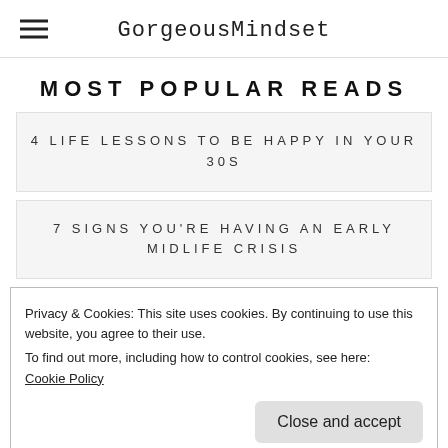GorgeousMindset
MOST POPULAR READS
4 LIFE LESSONS TO BE HAPPY IN YOUR 30S
7 SIGNS YOU'RE HAVING AN EARLY MIDLIFE CRISIS
Privacy & Cookies: This site uses cookies. By continuing to use this website, you agree to their use.
To find out more, including how to control cookies, see here: Cookie Policy
20 MUST-READ FEMALE EMPOWERMENT BOOKS